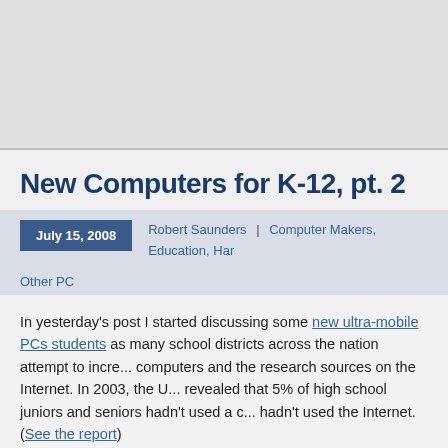[Figure (other): Header banner / advertisement area at top of webpage, light gray background]
New Computers for K-12, pt. 2
July 15, 2008   Robert Saunders  |  Computer Makers, Education, Har... Other PC
In yesterday's post I started discussing some new ultra-mobile PCs students as many school districts across the nation attempt to incre... computers and the research sources on the Internet. In 2003, the U... revealed that 5% of high school juniors and seniors hadn't used a c... hadn't used the Internet. (See the report)
Yesterday, I showed you two UMPCs: the Intel Classmate and the A... Today, I have two more computers which are being used in one-to-c...